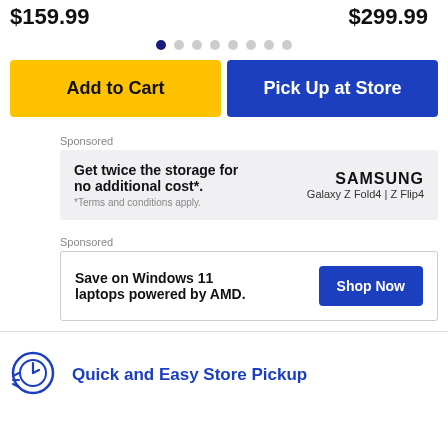$159.99
$299.99
Add to Cart
Pick Up at Store
Sponsored
Get twice the storage for no additional cost*.
*Terms and conditions apply.
SAMSUNG
Galaxy Z Fold4 | Z Flip4
Sponsored
Save on Windows 11 laptops powered by AMD.
Shop Now
Quick and Easy Store Pickup